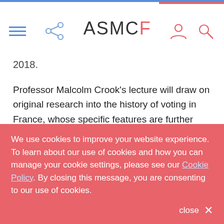ASMCF
2018.
Professor Malcolm Crook's lecture will draw on original research into the history of voting in France, whose specific features are further illuminated by a comparison with that of Britain. The lecture will explore the relatively neglected subject of how people cast their votes rather than who was elected, by focusing on three important questions.
We use cookies to improve your website experience. To learn about our use of cookies and how you can manage your cookie settings, please see our Cookie Policy. By closing this message, you are consenting to our use of cookies.